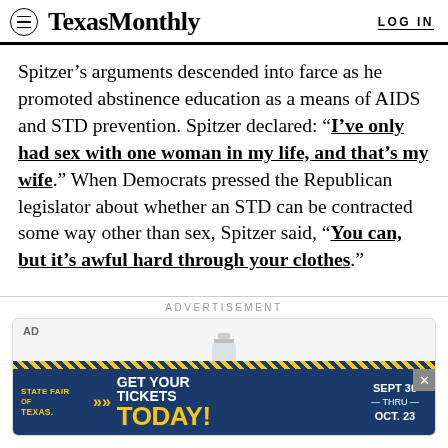Texas Monthly | LOG IN
Spitzer’s arguments descended into farce as he promoted abstinence education as a means of AIDS and STD prevention. Spitzer declared: “I’ve only had sex with one woman in my life, and that’s my wife.” When Democrats pressed the Republican legislator about whether an STD can be contracted some way other than sex, Spitzer said, “You can, but it’s awful hard through your clothes.”
ADVERTISEMENT
[Figure (other): Advertisement banner for State Fair of Texas: GET YOUR TICKETS TODAY! SEPT 30 THRU OCT. 23]